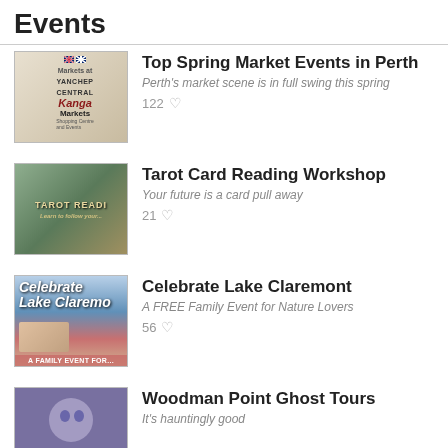Events
Top Spring Market Events in Perth
Perth's market scene is in full swing this spring
122 likes
Tarot Card Reading Workshop
Your future is a card pull away
21 likes
Celebrate Lake Claremont
A FREE Family Event for Nature Lovers
56 likes
Woodman Point Ghost Tours
It's hauntingly good